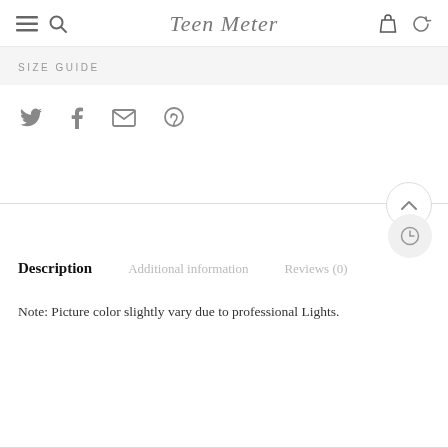Teen Meter
SIZE GUIDE
[Figure (other): Social share icons: Twitter bird, Facebook f, Email envelope, Pinterest P]
[Figure (other): Up arrow scroll button (chevron up, circle)]
[Figure (other): Clock/history icon in circle button]
Description | Additional information | Reviews (0)
Note: Picture color slightly vary due to professional Lights.